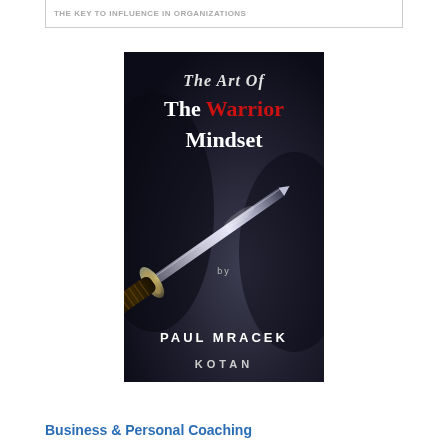THE KEY TO INFLUENCE IN ORGANIZATIONS
[Figure (illustration): Book cover for 'The Art Of The Warrior Mindset' by Paul Mracek, published by Kotan. Dark background with a katana/sword image. Title text in white and red serif font.]
Business & Personal Coaching